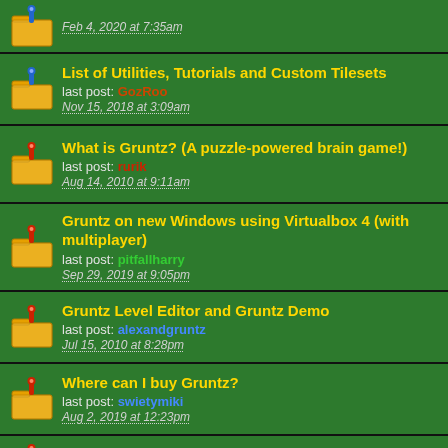Feb 4, 2020 at 7:35am
List of Utilities, Tutorials and Custom Tilesets — last post: GozRoo — Nov 15, 2018 at 3:09am
What is Gruntz? (A puzzle-powered brain game!) — last post: rurik — Aug 14, 2010 at 9:11am
Gruntz on new Windows using Virtualbox 4 (with multiplayer) — last post: pitfallharry — Sep 29, 2019 at 9:05pm
Gruntz Level Editor and Gruntz Demo — last post: alexandgruntz — Jul 15, 2010 at 8:28pm
Where can I buy Gruntz? — last post: swietymiki — Aug 2, 2019 at 12:23pm
Gruntz Extraz DVD-ROM